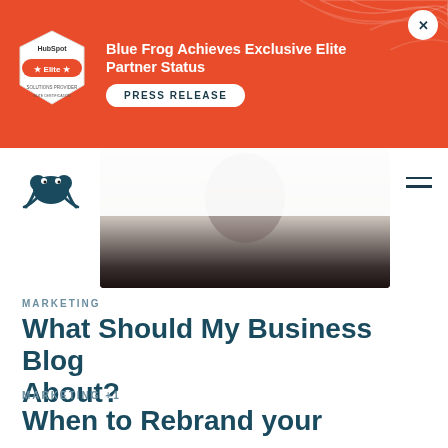[Figure (screenshot): Blue Frog Elite HubSpot Partner banner in orange/red with badge, headline, and press release button]
Blue Frog Achieves Exclusive Elite Partner Status
PRESS RELEASE
[Figure (logo): Blue Frog dark blue frog logo on navbar]
[Figure (photo): Blog article hero image - appears to show a person, faded into dark]
MARKETING
What Should My Business Blog About?
MARKETING +1
When to Rebrand your